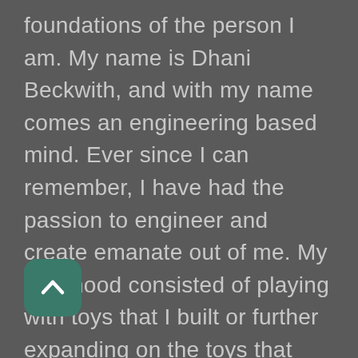foundations of the person I am. My name is Dhani Beckwith, and with my name comes an engineering based mind. Ever since I can remember, I have had the passion to engineer and create emanate out of me. My childhood consisted of playing with toys that I built or further expanding on the toys that were given to me. I would often get in trouble for using up all the rubber bands and paper clips due to my countless inventions. This knack for engineering never subsided throughout my elementary and middle school years, and was further strengthened by High School. When in High School I was able to take more complex and heavily engineering based classes turning my
[Figure (other): A teal/green rounded square scroll-up button with a chevron/caret arrow pointing upward, positioned in the lower-left area of the page overlaying text.]